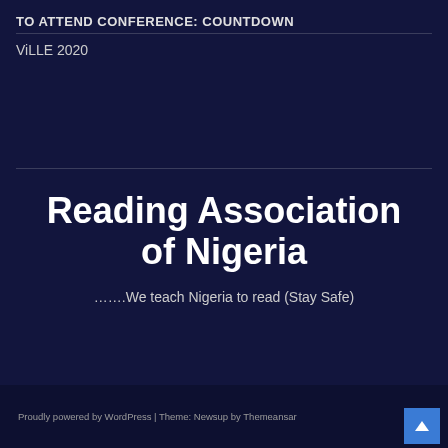TO ATTEND CONFERENCE: COUNTDOWN
ViLLE 2020
Reading Association of Nigeria
…….We teach Nigeria to read (Stay Safe)
Proudly powered by WordPress | Theme: Newsup by Themeansar